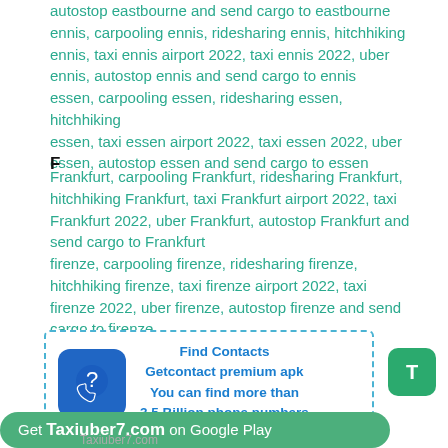autostop eastbourne and send cargo to eastbourne ennis, carpooling ennis, ridesharing ennis, hitchhiking ennis, taxi ennis airport 2022, taxi ennis 2022, uber ennis, autostop ennis and send cargo to ennis essen, carpooling essen, ridesharing essen, hitchhiking essen, taxi essen airport 2022, taxi essen 2022, uber essen, autostop essen and send cargo to essen
F
Frankfurt, carpooling Frankfurt, ridesharing Frankfurt, hitchhiking Frankfurt, taxi Frankfurt airport 2022, taxi Frankfurt 2022, uber Frankfurt, autostop Frankfurt and send cargo to Frankfurt firenze, carpooling firenze, ridesharing firenze, hitchhiking firenze, taxi firenze airport 2022, taxi firenze 2022, uber firenze, autostop firenze and send cargo to firenze
[Figure (infographic): Promotional box with dashed teal border showing a blue phone/contact icon and text: Find Contacts, Getcontact premium apk, You can find more than 3.5 Billion phone numbers]
[Figure (infographic): Green rounded T button on right side]
Get Taxiuber7.com on Google Play